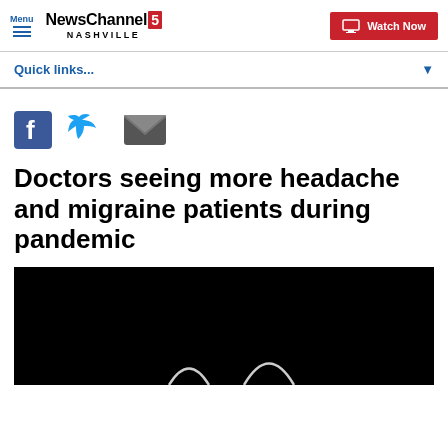Menu | NewsChannel 5 NASHVILLE | Watch Now
Quick links...
[Figure (other): Social share icons: Facebook, Twitter, Email]
Doctors seeing more headache and migraine patients during pandemic
[Figure (photo): Dark/black video thumbnail with partial graphic visible at bottom]